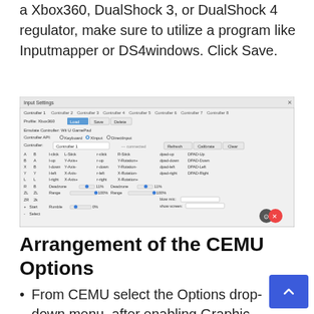a Xbox360, DualShock 3, or DualShock 4 regulator, make sure to utilize a program like Inputmapper or DS4windows. Click Save.
[Figure (screenshot): Input Settings dialog showing Controller 1 tab with Xbox360 profile, XInput API selected, and controller mappings for buttons, sticks, DPAD, and rumble settings with Refresh, Calibrate, and Clear buttons.]
Arrangement of the CEMU Options
From CEMU select the Options drop-down menu, after enabling Graphic...